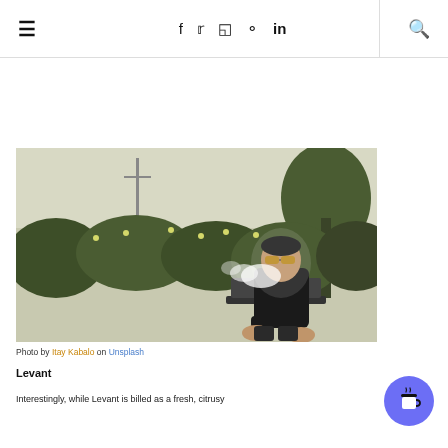≡  f  𝕥  ☷  ⊕  in  🔍
[Figure (photo): A person wearing sunglasses exhaling vapor/smoke, seated outdoors in front of flowering bushes and trees with a misty background.]
Photo by Itay Kabalo on Unsplash
Levant
Interestingly, while Levant is billed as a fresh, citrusy